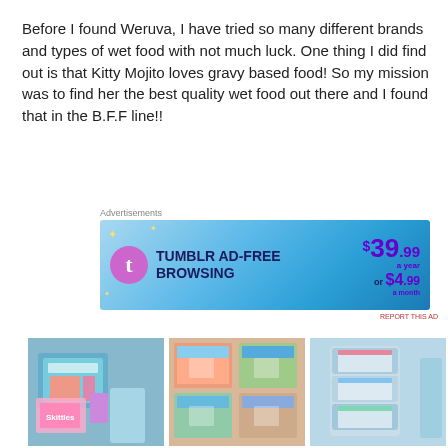Before I found Weruva, I have tried so many different brands and types of wet food with not much luck. One thing I did find out is that Kitty Mojito loves gravy based food! So my mission was to find her the best quality wet food out there and I found that in the B.F.F line!!
Advertisements
[Figure (screenshot): Tumblr ad-free browsing advertisement banner showing price $39.99 a year or $4.99 a month]
REPORT THIS AD
[Figure (photo): Three photos of Weruva B.F.F. cat food products including boxes, pouches, and cans with colorful packaging]